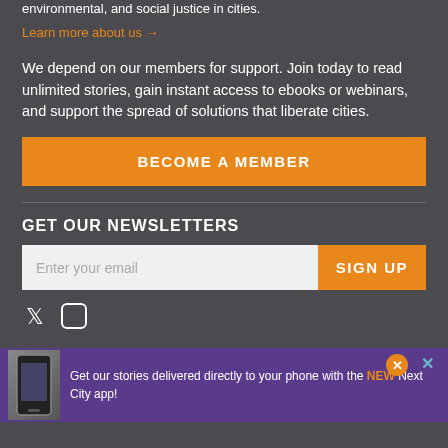environmental, and social justice in cities.
Learn more about us →
We depend on our members for support. Join today to read unlimited stories, gain instant access to ebooks or webinars, and support the spread of solutions that liberate cities.
BECOME A MEMBER
GET OUR NEWSLETTERS
Enter your email
SIGN UP
Get our stories delivered directly to your phone with the NEW Next City app!